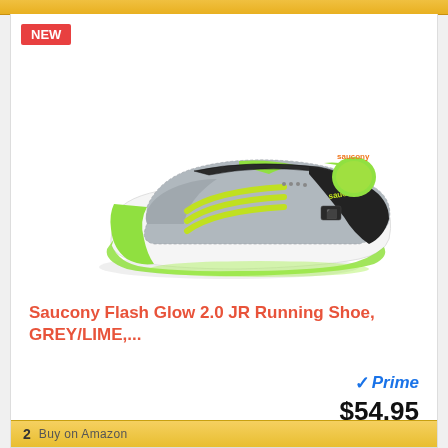[Figure (photo): Saucony Flash Glow 2.0 JR running shoe in grey and lime green colorway, shown from the side angle. The shoe features a grey mesh upper, neon green/lime laces and accents, a velcro strap, black trim, and a white midsole with a glowing green outsole.]
NEW
Saucony Flash Glow 2.0 JR Running Shoe, GREY/LIME,...
Prime
$54.95